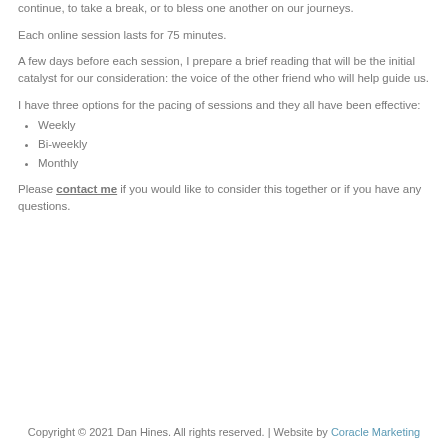continue, to take a break, or to bless one another on our journeys.
Each online session lasts for 75 minutes.
A few days before each session, I prepare a brief reading that will be the initial catalyst for our consideration: the voice of the other friend who will help guide us.
I have three options for the pacing of sessions and they all have been effective:
Weekly
Bi-weekly
Monthly
Please contact me if you would like to consider this together or if you have any questions.
Copyright © 2021 Dan Hines. All rights reserved. | Website by Coracle Marketing